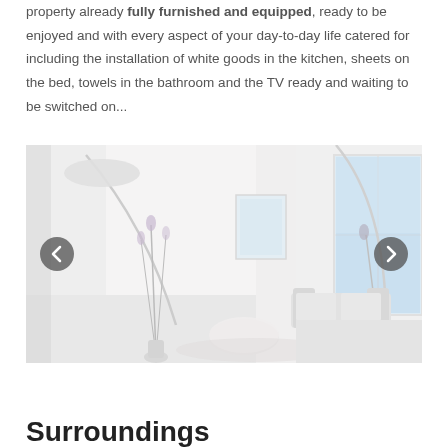property already fully furnished and equipped, ready to be enjoyed and with every aspect of your day-to-day life catered for including the installation of white goods in the kitchen, sheets on the bed, towels in the bathroom and the TV ready and waiting to be switched on...
[Figure (photo): Interior photograph of a modern white furnished living room with large windows overlooking the sea. Carousel navigation arrows (left and right) are overlaid on the image.]
Surroundings